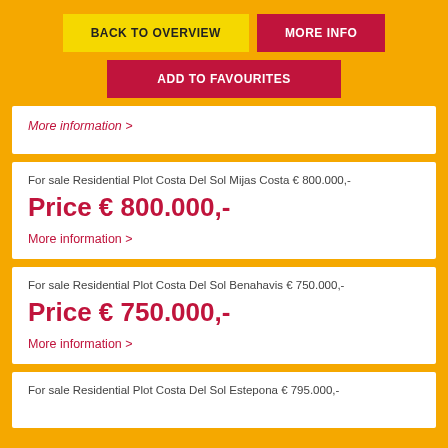BACK TO OVERVIEW
MORE INFO
ADD TO FAVOURITES
More information >
For sale Residential Plot Costa Del Sol Mijas Costa € 800.000,-
Price € 800.000,-
More information >
For sale Residential Plot Costa Del Sol Benahavis € 750.000,-
Price € 750.000,-
More information >
For sale Residential Plot Costa Del Sol Estepona € 795.000,-